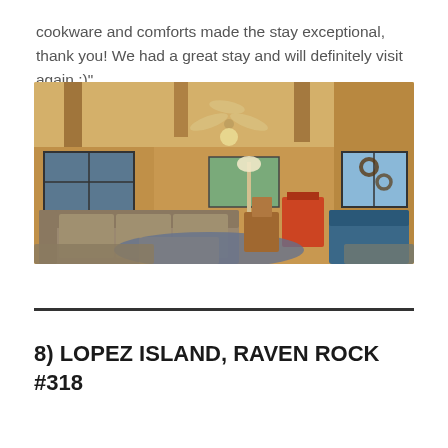cookware and comforts made the stay exceptional, thank you! We had a great stay and will definitely visit again :)"
[Figure (photo): Interior photo of a rustic cabin living room with wood-paneled walls and ceiling with exposed beams, a ceiling fan, a large sectional sofa, coffee table, blue round rug, wood stove, and windows showing outdoor views.]
8) LOPEZ ISLAND, RAVEN ROCK #318